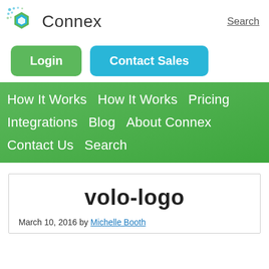Connex
Search
Login
Contact Sales
How It Works  How It Works  Pricing  Integrations  Blog  About Connex  Contact Us  Search
volo-logo
March 10, 2016 by Michelle Booth